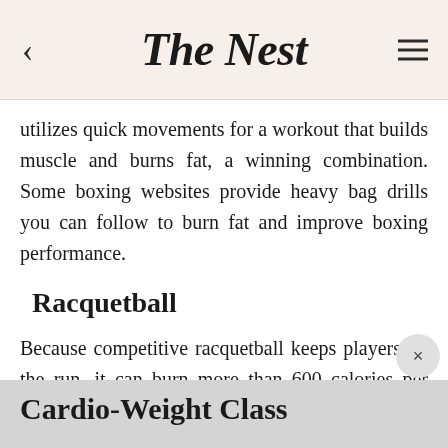The Nest
utilizes quick movements for a workout that builds muscle and burns fat, a winning combination. Some boxing websites provide heavy bag drills you can follow to burn fat and improve boxing performance.
Racquetball
Because competitive racquetball keeps players on the run, it can burn more than 600 calories per hour. If you're not ready to squash an opponent at that level of intensity, casual play still burns more than 400 calories an hour.
Cardio-Weight Class